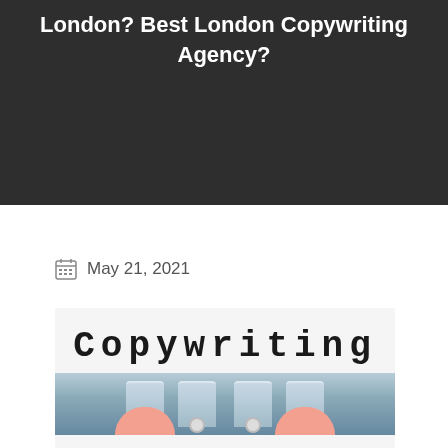London? Best London Copywriting Agency?
May 21, 2021
[Figure (photo): Photo of a typewriter with the word 'Copywriting' typed on paper, with fingers pressing keys, in a blog header style image.]